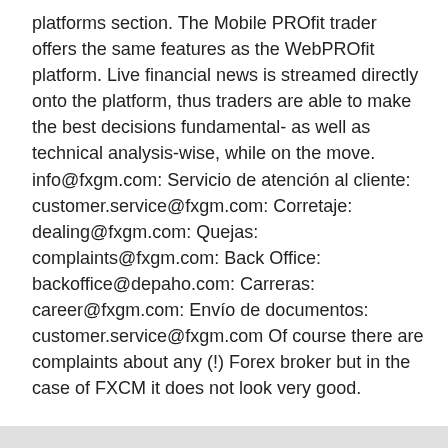platforms section. The Mobile PROfit trader offers the same features as the WebPROfit platform. Live financial news is streamed directly onto the platform, thus traders are able to make the best decisions fundamental- as well as technical analysis-wise, while on the move. info@fxgm.com: Servicio de atención al cliente: customer.service@fxgm.com: Corretaje: dealing@fxgm.com: Quejas: complaints@fxgm.com: Back Office: backoffice@depaho.com: Carreras: career@fxgm.com: Envío de documentos: customer.service@fxgm.com Of course there are complaints about any (!) Forex broker but in the case of FXCM it does not look very good.